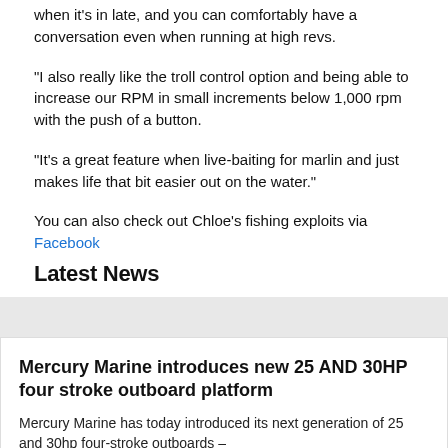when it's in late, and you can comfortably have a conversation even when running at high revs.
"I also really like the troll control option and being able to increase our RPM in small increments below 1,000 rpm with the push of a button.
"It's a great feature when live-baiting for marlin and just makes life that bit easier out on the water."
You can also check out Chloe's fishing exploits via
Facebook
Latest News
[Figure (photo): Gray image placeholder for a news article photo]
Mercury Marine introduces new 25 AND 30HP four stroke outboard platform
Mercury Marine has today introduced its next generation of 25 and 30hp four-stroke outboards –